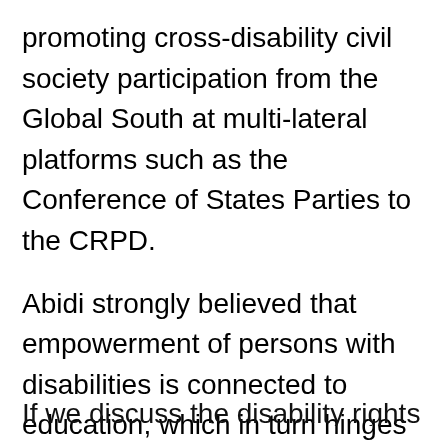promoting cross-disability civil society participation from the Global South at multi-lateral platforms such as the Conference of States Parties to the CRPD.
Abidi strongly believed that empowerment of persons with disabilities is connected to education, which in turn hinges on accessibility. And all three are not possible without enabling laws and policies.And pressure can be built through awareness. In his death, the global disability movement has lost a rare and exceptional champion of the rights of the persons with disabilities.
If we discuss the disability rights movement...